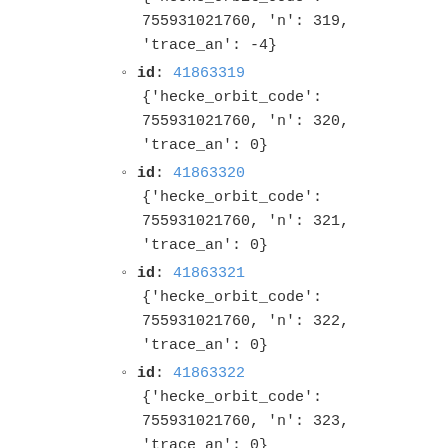id: 41863318 {'hecke_orbit_code': 755931021760, 'n': 319, 'trace_an': -4}
id: 41863319 {'hecke_orbit_code': 755931021760, 'n': 320, 'trace_an': 0}
id: 41863320 {'hecke_orbit_code': 755931021760, 'n': 321, 'trace_an': 0}
id: 41863321 {'hecke_orbit_code': 755931021760, 'n': 322, 'trace_an': 0}
id: 41863322 {'hecke_orbit_code': 755931021760, 'n': 323, 'trace_an': 0}
id: 41863323